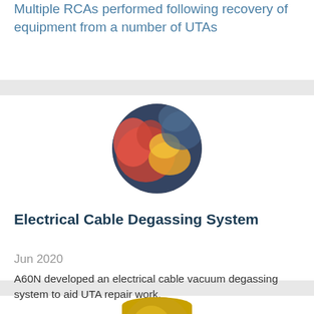Multiple RCAs performed following recovery of equipment from a number of UTAs
[Figure (photo): Circular cropped photograph showing industrial or underwater equipment, primarily red and yellow colored components with blurred background.]
Electrical Cable Degassing System
Jun 2020
A60N developed an electrical cable vacuum degassing system to aid UTA repair work.
[Figure (photo): Partially visible circular cropped photograph showing a golden/bronze colored object at the bottom of the page.]